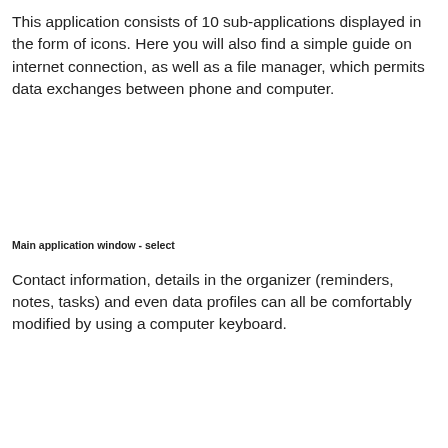This application consists of 10 sub-applications displayed in the form of icons. Here you will also find a simple guide on internet connection, as well as a file manager, which permits data exchanges between phone and computer.
Main application window - select
Contact information, details in the organizer (reminders, notes, tasks) and even data profiles can all be comfortably modified by using a computer keyboard.